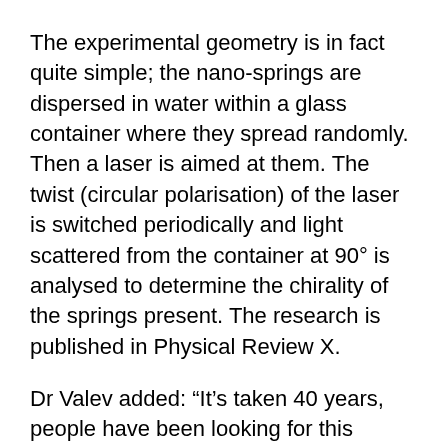The experimental geometry is in fact quite simple; the nano-springs are dispersed in water within a glass container where they spread randomly. Then a laser is aimed at them. The twist (circular polarisation) of the laser is switched periodically and light scattered from the container at 90° is analysed to determine the chirality of the springs present. The research is published in Physical Review X.
Dr Valev added: “It’s taken 40 years, people have been looking for this without success, and not for lack of trying. It’s amazing. The theory was quite controversial, people thought that maybe the effect was impossible to observe, maybe something else was there, blocking it.
“For 200 years, scientists have been using the same method to measure chirality. It’s not very sensitive, but it’s robust and simple, however precise measurements of chirality have been consistently called for by...